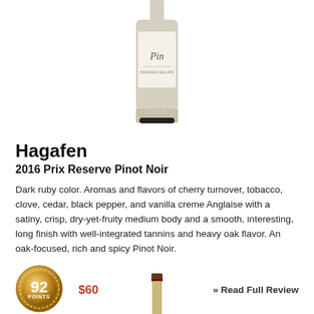[Figure (photo): Wine bottle top portion showing label with script text, partially watermarked with TAST...]
Hagafen
2016 Prix Reserve Pinot Noir
Dark ruby color. Aromas and flavors of cherry turnover, tobacco, clove, cedar, black pepper, and vanilla creme Anglaise with a satiny, crisp, dry-yet-fruity medium body and a smooth, interesting, long finish with well-integrated tannins and heavy oak flavor. An oak-focused, rich and spicy Pinot Noir.
[Figure (infographic): Gold badge/medal showing 92 points]
$60
» Read Full Review
Date Tasted: 4/22/2019 in our Chicago tasting lab - 92 points out of 100 .
[Figure (photo): Bottom portion of a wine bottle neck and top, dark bottle with foil capsule]